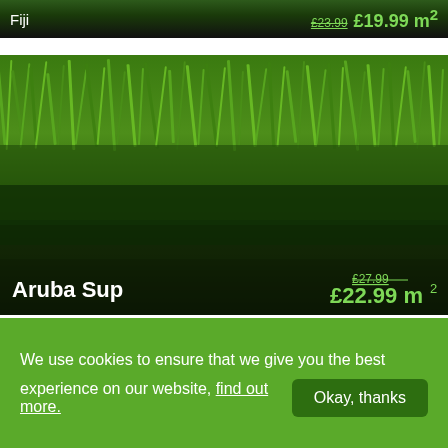[Figure (photo): Cropped top portion of a Fiji artificial grass product listing showing dark green close-up grass texture with product name 'Fiji' on left and prices on right]
Fiji  £23.99  £19.99 m²
[Figure (photo): Close-up side-profile photo of Aruba Sup artificial grass product showing dense green grass blades with brown thatch base. Product name 'Aruba Sup' shown bottom-left, prices bottom-right.]
Aruba Sup  £27.99  £22.99 m²
[Figure (photo): Partial top of another artificial grass product listing showing bright lime-green short grass blades against white background]
We use cookies to ensure that we give you the best experience on our website, find out more.  Okay, thanks